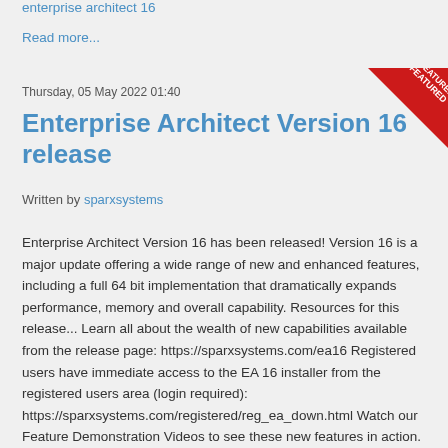enterprise architect 16
Read more...
Thursday, 05 May 2022 01:40
[Figure (illustration): Red featured badge ribbon in top-right corner]
Enterprise Architect Version 16 release
Written by sparxsystems
Enterprise Architect Version 16 has been released!   Version 16 is a major update offering a wide range of new and enhanced features, including a full 64 bit implementation that dramatically expands performance, memory and overall capability.   Resources for this release... Learn all about the wealth of new capabilities available from the release page: https://sparxsystems.com/ea16 Registered users have immediate access to the EA 16 installer from the registered users area (login required): https://sparxsystems.com/registered/reg_ea_down.html Watch our Feature Demonstration Videos to see these new features in action.